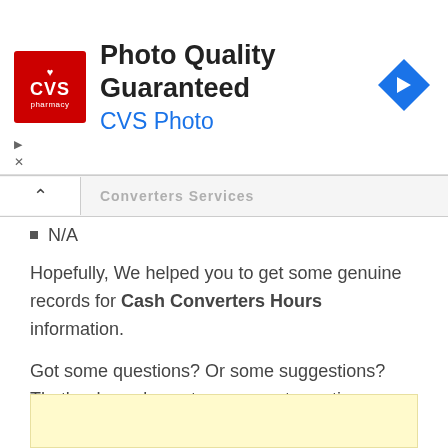[Figure (logo): CVS Pharmacy advertisement banner with red CVS logo, text 'Photo Quality Guaranteed' and 'CVS Photo' in blue, and a blue diamond navigation arrow icon on the right.]
▷
✕
... Converters Services ...
N/A
Hopefully, We helped you to get some genuine records for Cash Converters Hours information.
Got some questions? Or some suggestions? That's why we've got a comments section on this blog! You can feel free to leave a comment or two down below and we'll get back to you as soon as possible!
We love reading your messages…….
[Figure (other): Yellow/cream colored advertisement box at bottom of page.]